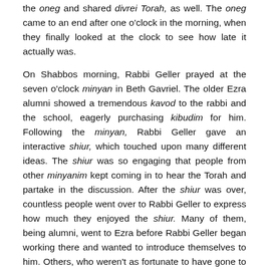the oneg and shared divrei Torah, as well. The oneg came to an end after one o'clock in the morning, when they finally looked at the clock to see how late it actually was.
On Shabbos morning, Rabbi Geller prayed at the seven o'clock minyan in Beth Gavriel. The older Ezra alumni showed a tremendous kavod to the rabbi and the school, eagerly purchasing kibudim for him. Following the minyan, Rabbi Geller gave an interactive shiur, which touched upon many different ideas. The shiur was so engaging that people from other minyanim kept coming in to hear the Torah and partake in the discussion. After the shiur was over, countless people went over to Rabbi Geller to express how much they enjoyed the shiur. Many of them, being alumni, went to Ezra before Rabbi Geller began working there and wanted to introduce themselves to him. Others, who weren't as fortunate to have gone to Ezra, played Jewish geography with their family and friends who did.
Thorough Shabbos afternoon, recent alumni and current students kept coming to the Yakubov residence to spend time with their